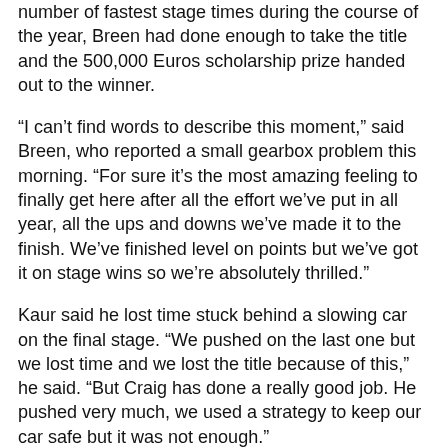number of fastest stage times during the course of the year, Breen had done enough to take the title and the 500,000 Euros scholarship prize handed out to the winner.
“I can’t find words to describe this moment,” said Breen, who reported a small gearbox problem this morning. “For sure it’s the most amazing feeling to finally get here after all the effort we’ve put in all year, all the ups and downs we’ve made it to the finish. We’ve finished level on points but we’ve got it on stage wins so we’re absolutely thrilled.”
Kaur said he lost time stuck behind a slowing car on the final stage. “We pushed on the last one but we lost time and we lost the title because of this,” he said. “But Craig has done a really good job. He pushed very much, we used a strategy to keep our car safe but it was not enough.”
Northern Ireland’s Alastair Fisher finished third overall to claim third overall in the final standings despite a fraught finish to the event. “We had a broken steering column for the last stage so we had strap the steering column to the roof for the last stage using a ratchet strap,” explained Fisher. “We